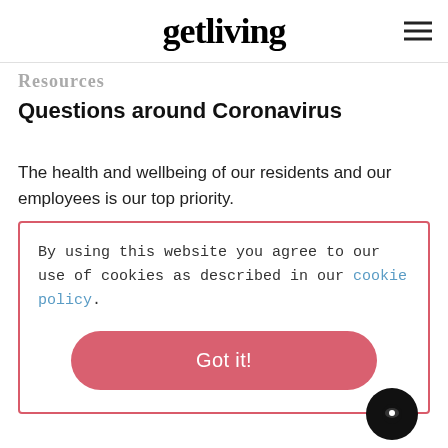getliving
Resources
Questions around Coronavirus
The health and wellbeing of our residents and our employees is our top priority.
By using this website you agree to our use of cookies as described in our cookie policy.
Got it!
our team and we will answer as best as we can